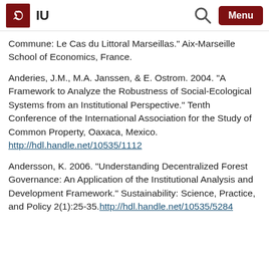IU
Commune: Le Cas du Littoral Marseillas." Aix-Marseille School of Economics, France.
Anderies, J.M., M.A. Janssen, & E. Ostrom. 2004. "A Framework to Analyze the Robustness of Social-Ecological Systems from an Institutional Perspective." Tenth Conference of the International Association for the Study of Common Property, Oaxaca, Mexico. http://hdl.handle.net/10535/1112
Andersson, K. 2006. "Understanding Decentralized Forest Governance: An Application of the Institutional Analysis and Development Framework." Sustainability: Science, Practice, and Policy 2(1):25-35. http://hdl.handle.net/10535/5284